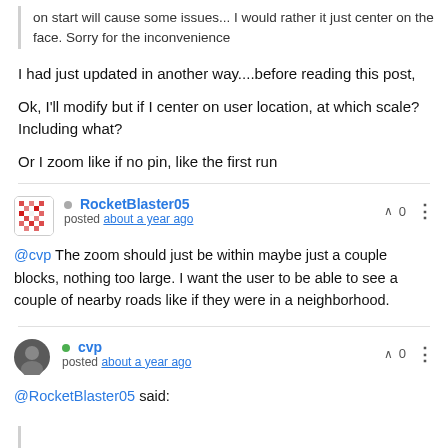on start will cause some issues... I would rather it just center on the face. Sorry for the inconvenience
I had just updated in another way....before reading this post,
Ok, I'll modify but if I center on user location, at which scale? Including what?
Or I zoom like if no pin, like the first run
RocketBlaster05 posted about a year ago | upvote 0
@cvp The zoom should just be within maybe just a couple blocks, nothing too large. I want the user to be able to see a couple of nearby roads like if they were in a neighborhood.
cvp posted about a year ago | upvote 0
@RocketBlaster05 said: